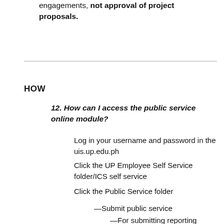engagements, not approval of project proposals.
HOW
12. How can I access the public service online module?
Log in your username and password in the uis.up.edu.ph
Click the UP Employee Self Service folder/ICS self service
Click the Public Service folder
—Submit public service
—For submitting reporting
Print approved public service